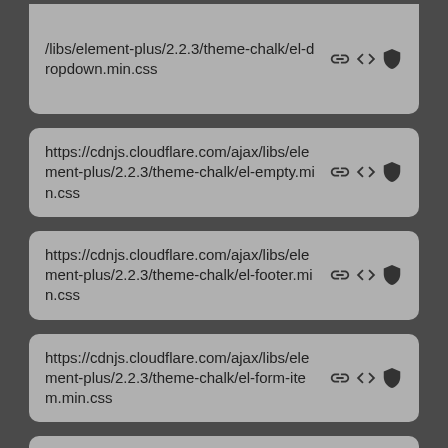https://cdnjs.cloudflare.com/ajax/libs/element-plus/2.2.3/theme-chalk/el-dropdown.min.css
https://cdnjs.cloudflare.com/ajax/libs/element-plus/2.2.3/theme-chalk/el-empty.min.css
https://cdnjs.cloudflare.com/ajax/libs/element-plus/2.2.3/theme-chalk/el-footer.min.css
https://cdnjs.cloudflare.com/ajax/libs/element-plus/2.2.3/theme-chalk/el-form-item.min.css
https://cdnjs.cloudflare.com/ajax/libs/element-plus/2.2.3/theme-chalk/el-form.min.css